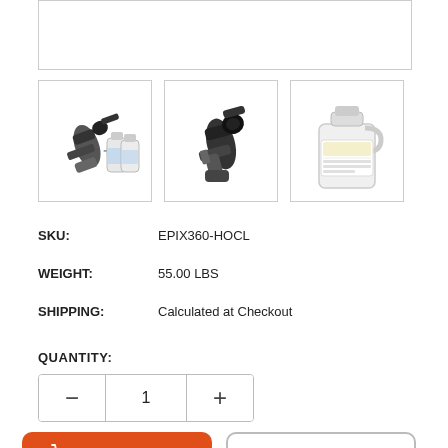[Figure (photo): Top product image placeholder box (partially visible, mostly white with border)]
[Figure (photo): Thumbnail 1: electrostatic sprayer device with liquid bottles]
[Figure (photo): Thumbnail 2: electrostatic sprayer device alone]
[Figure (photo): Thumbnail 3: white gallon jug of liquid solution]
SKU: EPIX360-HOCL
WEIGHT: 55.00 LBS
SHIPPING: Calculated at Checkout
QUANTITY:
1
ADD TO CART
ADD TO QUOTE